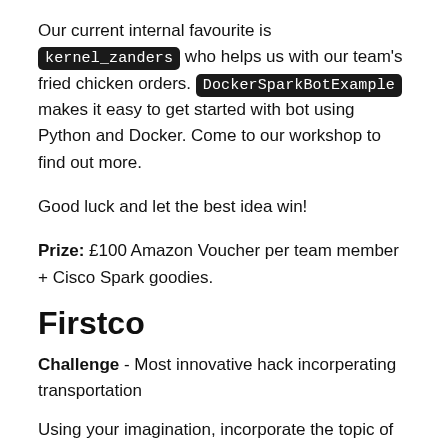Our current internal favourite is kernel_zanders who helps us with our team's fried chicken orders. DockerSparkBotExample makes it easy to get started with bot using Python and Docker. Come to our workshop to find out more.
Good luck and let the best idea win!
Prize: £100 Amazon Voucher per team member + Cisco Spark goodies.
Firstco
Challenge - Most innovative hack incorperating transportation
Using your imagination, incorporate the topic of